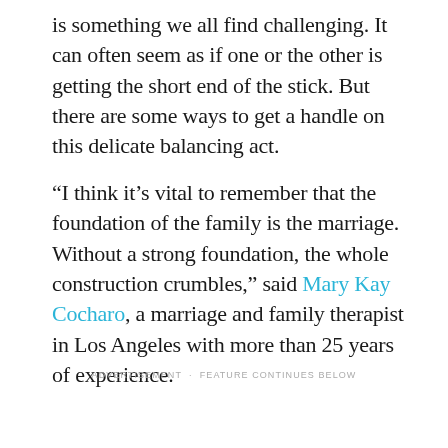is something we all find challenging. It can often seem as if one or the other is getting the short end of the stick. But there are some ways to get a handle on this delicate balancing act.
“I think it’s vital to remember that the foundation of the family is the marriage. Without a strong foundation, the whole construction crumbles,” said Mary Kay Cocharo, a marriage and family therapist in Los Angeles with more than 25 years of experience.
ADVERTISEMENT · FEATURE CONTINUES BELOW